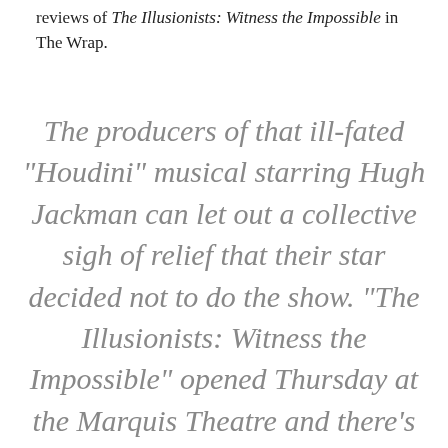reviews of The Illusionists: Witness the Impossible in The Wrap.
The producers of that ill-fated “Houdini” musical starring Hugh Jackman can let out a collective sigh of relief that their star decided not to do the show. “The Illusionists: Witness the Impossible” opened Thursday at the Marquis Theatre and there’s no way a tuner based on the life